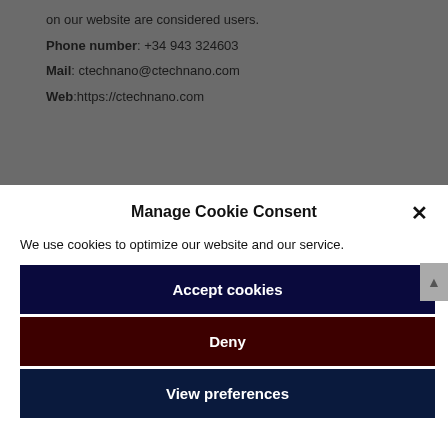on our website are considered users.
Phone number: +34 943 324603
Mail: ctechnano@ctechnano.com
Web:https://ctechnano.com
Manage Cookie Consent
We use cookies to optimize our website and our service.
Accept cookies
Deny
View preferences